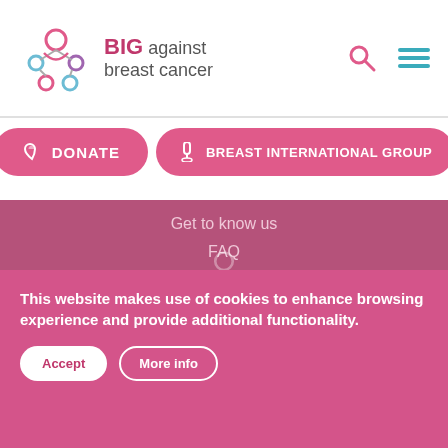[Figure (logo): BIG against breast cancer logo with colorful molecular/ribbon icon and text]
[Figure (other): Search icon (magnifying glass) and hamburger menu icon in teal/blue]
DONATE
BREAST INTERNATIONAL GROUP
Get to know us
FAQ
Research
Clinical trials explained
BIG's achievements
Trials to support
Our principles
Support us
This website makes use of cookies to enhance browsing experience and provide additional functionality.